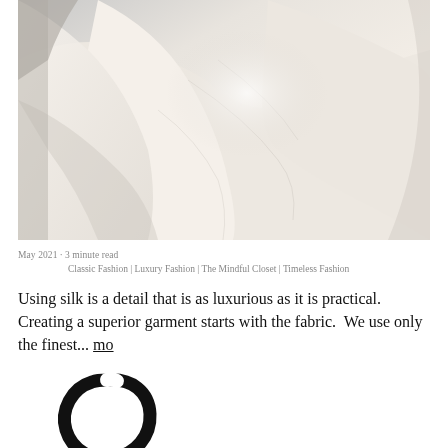[Figure (photo): Close-up photograph of draped cream/off-white silk fabric with soft folds and creases, light gray background visible at edges]
May 2021  ·  3 minute read
Classic Fashion | Luxury Fashion | The Mindful Closet | Timeless Fashion
Using silk is a detail that is as luxurious as it is practical.  Creating a superior garment starts with the fabric.  We use only the finest... more
[Figure (logo): Black circular Zen enso brush stroke logo]